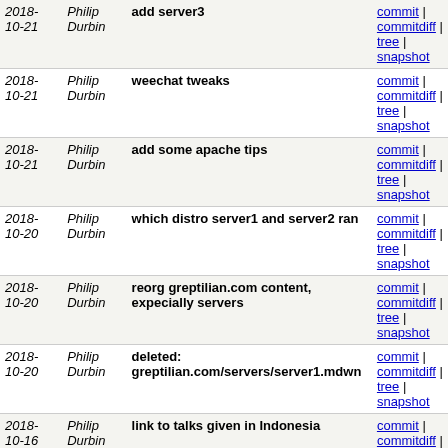| Date | Author | Message | Links |
| --- | --- | --- | --- |
| 2018-10-21 | Philip Durbin | add server3 | commit | commitdiff | tree | snapshot |
| 2018-10-21 | Philip Durbin | weechat tweaks | commit | commitdiff | tree | snapshot |
| 2018-10-21 | Philip Durbin | add some apache tips | commit | commitdiff | tree | snapshot |
| 2018-10-20 | Philip Durbin | which distro server1 and server2 ran | commit | commitdiff | tree | snapshot |
| 2018-10-20 | Philip Durbin | reorg greptilian.com content, expecially servers | commit | commitdiff | tree | snapshot |
| 2018-10-20 | Philip Durbin | deleted: greptilian.com/servers/server1.mdwn | commit | commitdiff | tree | snapshot |
| 2018-10-16 | Philip Durbin | link to talks given in Indonesia | commit | commitdiff | tree | snapshot |
| 2018-10-16 | Philip Durbin | reorg haunts | commit | commitdiff | tree | snapshot |
| 2018-10-15 | Philip Durbin | perlgeek crimsonfu links are 404, switch to archive | commit | commitdiff | tree | snapshot |
| 2018-10-12 | Philip Durbin | new file: gitter.mdwn | commit | commitdiff | tree | snapshot |
| 2018- | Philip | add missing period | commit | |